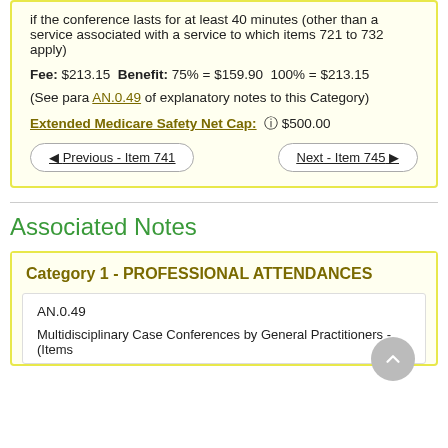if the conference lasts for at least 40 minutes (other than a service associated with a service to which items 721 to 732 apply)
Fee: $213.15 Benefit: 75% = $159.90 100% = $213.15
(See para AN.0.49 of explanatory notes to this Category)
Extended Medicare Safety Net Cap: ◉ $500.00
◀ Previous - Item 741
Next - Item 745 ▶
Associated Notes
Category 1 - PROFESSIONAL ATTENDANCES
AN.0.49
Multidisciplinary Case Conferences by General Practitioners - (Items